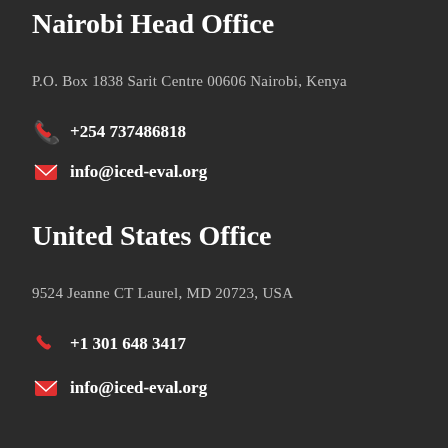Nairobi Head Office
P.O. Box 1838 Sarit Centre 00606 Nairobi, Kenya
+254 737486818
info@iced-eval.org
United States Office
9524 Jeanne CT Laurel, MD 20723, USA
+1 301 648 3417
info@iced-eval.org